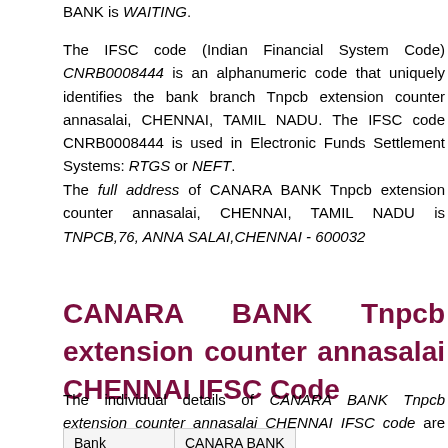BANK is WAITING.
The IFSC code (Indian Financial System Code) CNRB0008444 is an alphanumeric code that uniquely identifies the bank branch Tnpcb extension counter annasalai, CHENNAI, TAMIL NADU. The IFSC code CNRB0008444 is used in Electronic Funds Settlement Systems: RTGS or NEFT.
The full address of CANARA BANK Tnpcb extension counter annasalai, CHENNAI, TAMIL NADU is TNPCB,76, ANNA SALAI,CHENNAI - 600032
CANARA BANK Tnpcb extension counter annasalai CHENNAI IFSC Code
The individual details of CANARA BANK Tnpcb extension counter annasalai CHENNAI IFSC code are given below:
| Bank | CANARA BANK |
| --- | --- |